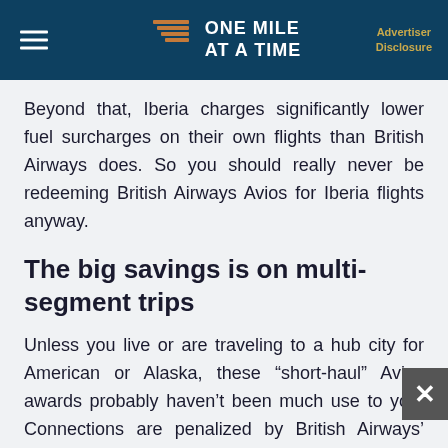ONE MILE AT A TIME | Advertiser Disclosure
Beyond that, Iberia charges significantly lower fuel surcharges on their own flights than British Airways does. So you should really never be redeeming British Airways Avios for Iberia flights anyway.
The big savings is on multi-segment trips
Unless you live or are traveling to a hub city for American or Alaska, these “short-haul” Avios awards probably haven’t been much use to you. Connections are penalized by British Airways’ distance-based chart, so even if you aren’t traveling many miles overall, you pay for each segment separately.